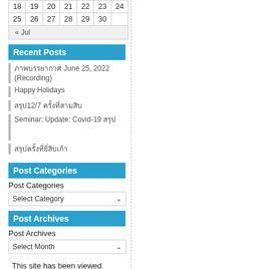| 18 | 19 | 20 | 21 | 22 | 23 | 24 |
| 25 | 26 | 27 | 28 | 29 | 30 |  |
« Jul
Recent Posts
ภาพบรรยากาศ June 25, 2022 (Recording)
Happy Holidays
สรุป12/7 ครั้งที่สามสิบ
Seminar: Update: Covid-19 สรุป
สรุปครั้งที่ยี่สิบเก้า
Post Categories
Post Categories
Select Category
Post Archives
Post Archives
Select Month
This site has been viewed

times since Jan. 13, 2010